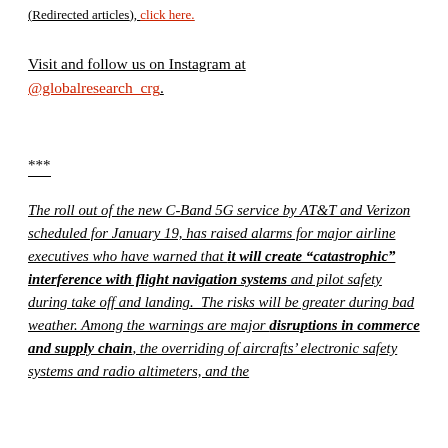(Redirected articles), click here.
Visit and follow us on Instagram at @globalresearch_crg.
***
The roll out of the new C-Band 5G service by AT&T and Verizon scheduled for January 19, has raised alarms for major airline executives who have warned that it will create “catastrophic” interference with flight navigation systems and pilot safety during take off and landing. The risks will be greater during bad weather. Among the warnings are major disruptions in commerce and supply chain, the overriding of aircrafts’ electronic safety systems and radio altimeters, and the